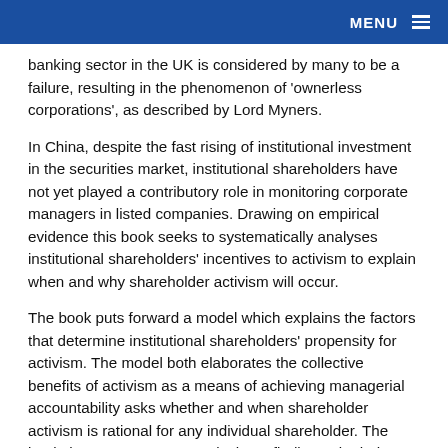MENU
banking sector in the UK is considered by many to be a failure, resulting in the phenomenon of 'ownerless corporations', as described by Lord Myners.
In China, despite the fast rising of institutional investment in the securities market, institutional shareholders have not yet played a contributory role in monitoring corporate managers in listed companies. Drawing on empirical evidence this book seeks to systematically analyses institutional shareholders' incentives to activism to explain when and why shareholder activism will occur.
The book puts forward a model which explains the factors that determine institutional shareholders' propensity for activism. The model both elaborates the collective benefits of activism as a means of achieving managerial accountability asks whether and when shareholder activism is rational for any individual shareholder. The book then goes to on to apply these finding to both the UK and China in order to explain the varying levels of shareholder activism in each jurisdiction.